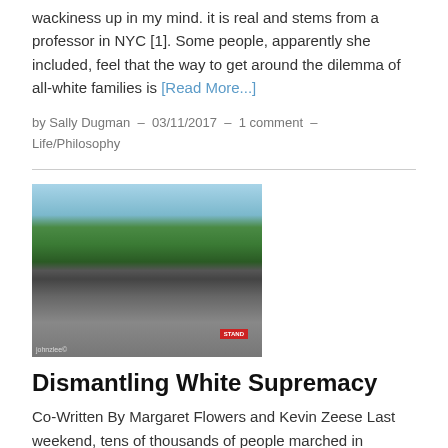wackiness up in my mind. it is real and stems from a professor in NYC [1]. Some people, apparently she included, feel that the way to get around the dilemma of all-white families is [Read More...]
by Sally Dugman — 03/11/2017 — 1 comment — Life/Philosophy
[Figure (photo): Crowd of protesters marching outdoors, holding signs including one that says STAND, with trees in background]
Dismantling White Supremacy
Co-Written By Margaret Flowers and Kevin Zeese Last weekend, tens of thousands of people marched in